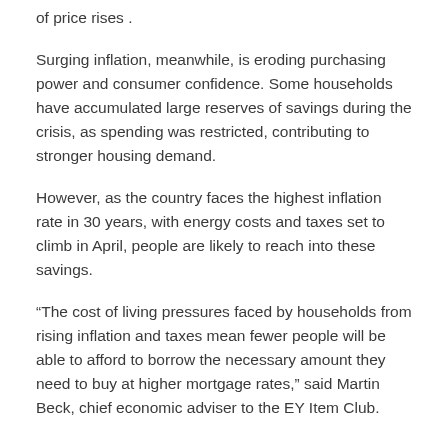of price rises .
Surging inflation, meanwhile, is eroding purchasing power and consumer confidence. Some households have accumulated large reserves of savings during the crisis, as spending was restricted, contributing to stronger housing demand.
However, as the country faces the highest inflation rate in 30 years, with energy costs and taxes set to climb in April, people are likely to reach into these savings.
“The cost of living pressures faced by households from rising inflation and taxes mean fewer people will be able to afford to borrow the necessary amount they need to buy at higher mortgage rates,” said Martin Beck, chief economic adviser to the EY Item Club.